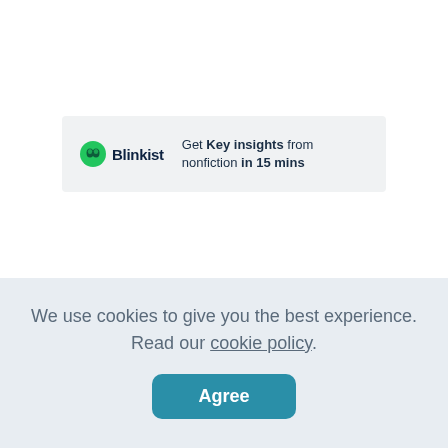[Figure (logo): Blinkist advertisement banner with green drop logo and text: Get Key insights from nonfiction in 15 mins]
We use cookies to give you the best experience. Read our cookie policy.
Agree